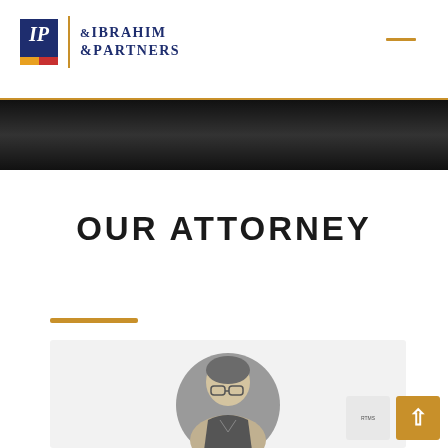Ibrahim & Partners
OUR ATTORNEY
[Figure (photo): Circular portrait photo of an attorney (older man with glasses) on a gray background, partially visible at the bottom of the page]